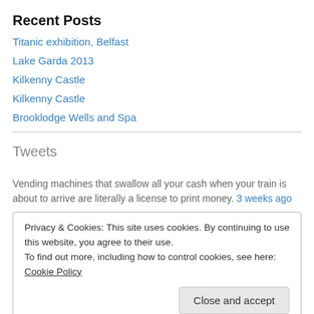Recent Posts
Titanic exhibition, Belfast
Lake Garda 2013
Kilkenny Castle
Kilkenny Castle
Brooklodge Wells and Spa
Tweets
Vending machines that swallow all your cash when your train is about to arrive are literally a license to print money. 3 weeks ago
Privacy & Cookies: This site uses cookies. By continuing to use this website, you agree to their use.
To find out more, including how to control cookies, see here: Cookie Policy
Close and accept
Follow @paulherryland